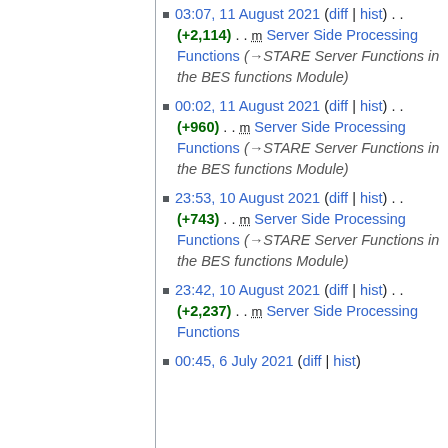03:07, 11 August 2021 (diff | hist) . . (+2,114) . . m Server Side Processing Functions (→STARE Server Functions in the BES functions Module)
00:02, 11 August 2021 (diff | hist) . . (+960) . . m Server Side Processing Functions (→STARE Server Functions in the BES functions Module)
23:53, 10 August 2021 (diff | hist) . . (+743) . . m Server Side Processing Functions (→STARE Server Functions in the BES functions Module)
23:42, 10 August 2021 (diff | hist) . . (+2,237) . . m Server Side Processing Functions
00:45, 6 July 2021 (diff | hist)